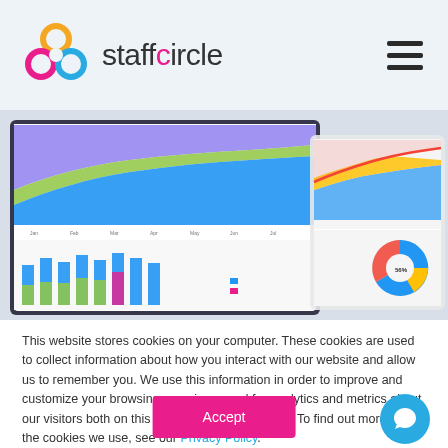staffcircle
[Figure (screenshot): Dashboard screenshot showing area charts and bar charts with analytics data on two monitors/tablets]
This website stores cookies on your computer. These cookies are used to collect information about how you interact with our website and allow us to remember you. We use this information in order to improve and customize your browsing experience and for analytics and metrics about our visitors both on this website and other media. To find out more about the cookies we use, see our Privacy Policy.
[Figure (other): Accept button (pink/magenta) and chat bubble icon (cyan)]